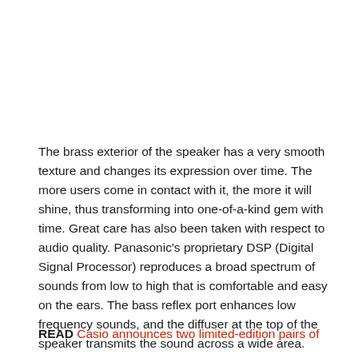The brass exterior of the speaker has a very smooth texture and changes its expression over time. The more users come in contact with it, the more it will shine, thus transforming into one-of-a-kind gem with time. Great care has also been taken with respect to audio quality. Panasonic's proprietary DSP (Digital Signal Processor) reproduces a broad spectrum of sounds from low to high that is comfortable and easy on the ears. The bass reflex port enhances low frequency sounds, and the diffuser at the top of the speaker transmits the sound across a wide area.
READ Casio announces two limited-edition pairs of